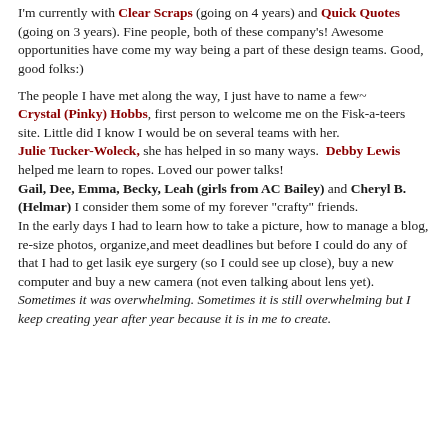I'm currently with Clear Scraps (going on 4 years) and Quick Quotes (going on 3 years).  Fine people, both of these company's!  Awesome opportunities have come my way being a part of these design teams. Good, good folks:)
The people I have met along the way, I just have to name a few~ Crystal (Pinky) Hobbs, first person to welcome me on the Fisk-a-teers site.  Little did I know I would be on several teams with her. Julie Tucker-Woleck, she has helped in so many ways.  Debby Lewis helped me learn to ropes. Loved our power talks! Gail, Dee, Emma, Becky, Leah (girls from AC Bailey) and Cheryl B. (Helmar) I consider them some of my forever "crafty" friends. In the early days I had to learn how to take a picture, how to manage a blog, re-size photos, organize,and meet deadlines but before I could do any of that I had to get lasik eye surgery (so I could see up close), buy a new computer and buy a new camera (not even talking about lens yet). Sometimes it was overwhelming.  Sometimes it is still overwhelming but I keep creating year after year because it is in me to create.